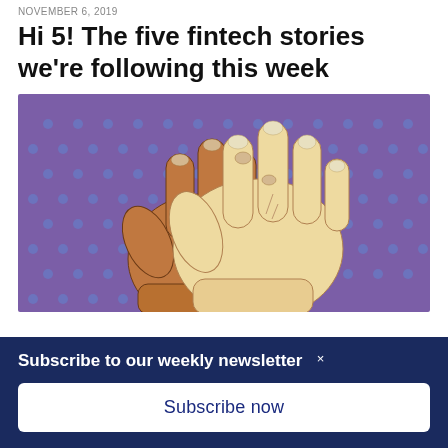NOVEMBER 6, 2019
Hi 5! The five fintech stories we're following this week
[Figure (illustration): Pop-art style illustration of two hands giving a high five against a purple background with blue halftone dots. One hand is darker-skinned, one is lighter-skinned.]
Subscribe to our weekly newsletter
Subscribe now